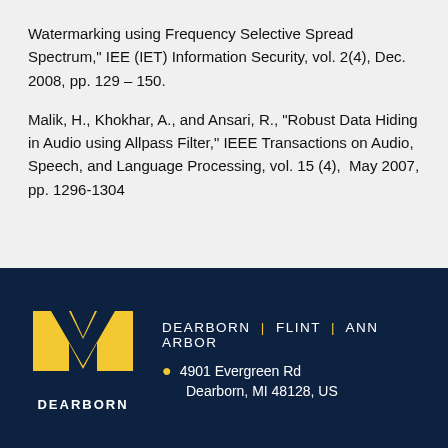Watermarking using Frequency Selective Spread Spectrum," IEE (IET) Information Security, vol. 2(4), Dec. 2008, pp. 129 – 150.
Malik, H., Khokhar, A., and Ansari, R., "Robust Data Hiding in Audio using Allpass Filter," IEEE Transactions on Audio, Speech, and Language Processing, vol. 15 (4),  May 2007, pp. 1296-1304
[Figure (logo): University of Michigan block M logo in gold/yellow with DEARBORN text below]
DEARBORN | FLINT | ANN ARBOR
4901 Evergreen Rd Dearborn, MI 48128, US